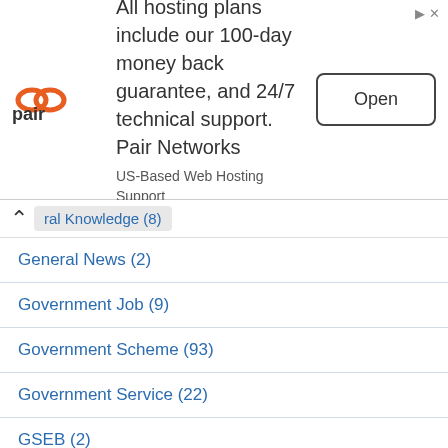[Figure (other): Pair Networks advertisement banner with logo, text about hosting plans with 100-day money back guarantee and 24/7 technical support, and an Open button]
ral Knowledge (8)
General News (2)
Government Job (9)
Government Scheme (93)
Government Service (22)
GSEB (2)
GSEB Board HSC Result (1)
GSEB Text Books (1)
GSRTC (7)
Gujarat (2)
Gujarat Online Education (1)
Gujarat Police Bharti (1)